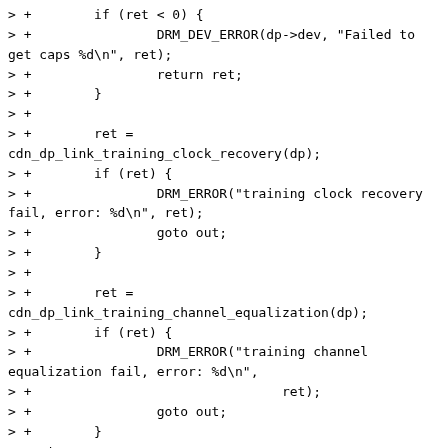> +        if (ret < 0) {
> +                DRM_DEV_ERROR(dp->dev, "Failed to get caps %d\n", ret);
> +                return ret;
> +        }
> +
> +        ret =
cdn_dp_link_training_clock_recovery(dp);
> +        if (ret) {
> +                DRM_ERROR("training clock recovery fail, error: %d\n", ret);
> +                goto out;
> +        }
> +
> +        ret =
cdn_dp_link_training_channel_equalization(dp);
> +        if (ret) {
> +                DRM_ERROR("training channel equalization fail, error: %d\n",
> +                                ret);
> +                goto out;
> +        }
> +out:
> +        stop_err = cdn_dp_stop_link_train(dp);
> +        if (stop_err) {
> +                DRM_ERROR("stop training fail, error: %d\n", stop_err);
> +                return stop_err;
> +        }
> +